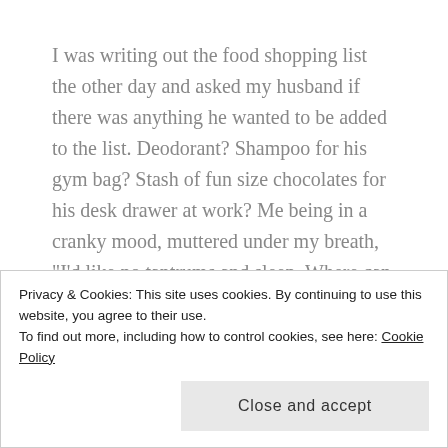I was writing out the food shopping list the other day and asked my husband if there was anything he wanted to be added to the list. Deodorant? Shampoo for his gym bag? Stash of fun size chocolates for his desk drawer at work? Me being in a cranky mood, muttered under my breath, "I'd like no tantrums and sleep. Where can I get some of that?"
I started to compile a list in my mind of things I wanted. Things I'm pretty sure most parents would
Privacy & Cookies: This site uses cookies. By continuing to use this website, you agree to their use.
To find out more, including how to control cookies, see here: Cookie Policy
Close and accept
I want to sleep a restful sleep and wake up in the